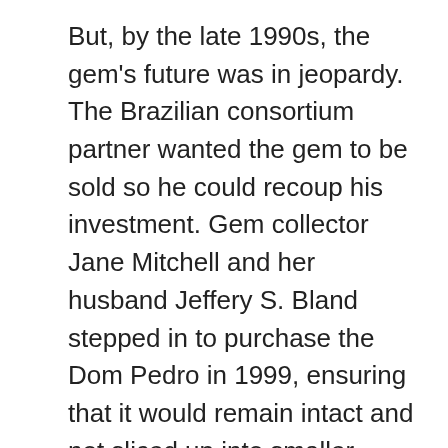But, by the late 1990s, the gem's future was in jeopardy. The Brazilian consortium partner wanted the gem to be sold so he could recoup his investment. Gem collector Jane Mitchell and her husband Jeffery S. Bland stepped in to purchase the Dom Pedro in 1999, ensuring that it would remain intact and not sliced up into smaller stones.
The couple generously gifted the Dom Pedro aquamarine to the Smithsonian in 2011. It was made part of the permanent exhibition at the very end of 2012.
Aquamarine is the pretty soft blue variety of the